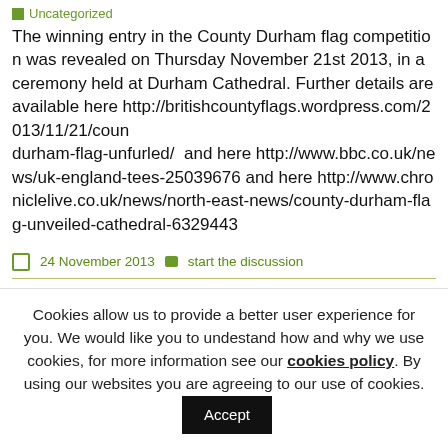Uncategorized
The winning entry in the County Durham flag competition was revealed on Thursday November 21st 2013, in a ceremony held at Durham Cathedral. Further details are available here http://britishcountyflags.wordpress.com/2013/11/21/county-durham-flag-unfurled/  and here http://www.bbc.co.uk/news/uk-england-tees-25039676 and here http://www.chroniclelive.co.uk/news/north-east-news/county-durham-flag-unveiled-cathedral-6329443
24 November 2013   start the discussion
Cookies allow us to provide a better user experience for you. We would like you to undestand how and why we use cookies, for more information see our cookies policy. By using our websites you are agreeing to our use of cookies. Accept